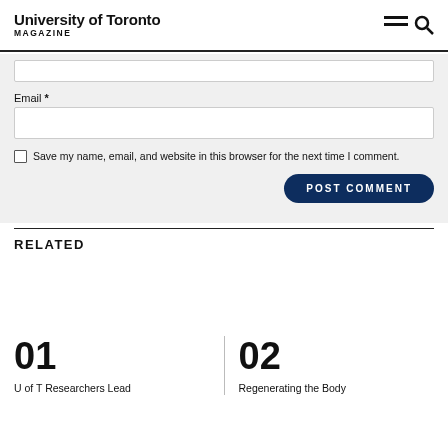University of Toronto MAGAZINE
Email *
Save my name, email, and website in this browser for the next time I comment.
POST COMMENT
RELATED
01
U of T Researchers Lead
02
Regenerating the Body